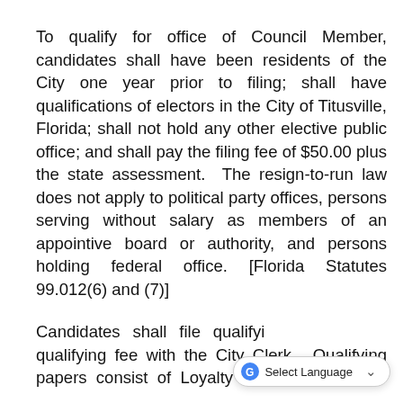To qualify for office of Council Member, candidates shall have been residents of the City one year prior to filing; shall have qualifications of electors in the City of Titusville, Florida; shall not hold any other elective public office; and shall pay the filing fee of $50.00 plus the state assessment.  The resign-to-run law does not apply to political party offices, persons serving without salary as members of an appointive board or authority, and persons holding federal office. [Florida Statutes 99.012(6) and (7)]
Candidates shall file qualifying papers and qualifying fee with the City Clerk.  Qualifying papers consist of Loyalty Oath/Oath of...